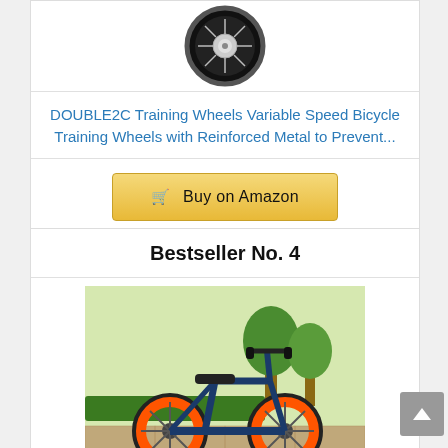[Figure (photo): Bicycle training wheel product image — black wheel with silver hub on white background]
DOUBLE2C Training Wheels Variable Speed Bicycle Training Wheels with Reinforced Metal to Prevent...
Buy on Amazon
Bestseller No. 4
[Figure (photo): Blue and orange children's balance bike outdoors on a patio with green trees in the background]